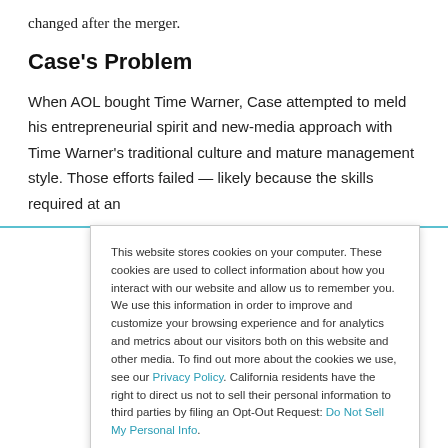changed after the merger.
Case's Problem
When AOL bought Time Warner, Case attempted to meld his entrepreneurial spirit and new-media approach with Time Warner's traditional culture and mature management style. Those efforts failed — likely because the skills required at an
This website stores cookies on your computer. These cookies are used to collect information about how you interact with our website and allow us to remember you. We use this information in order to improve and customize your browsing experience and for analytics and metrics about our visitors both on this website and other media. To find out more about the cookies we use, see our Privacy Policy. California residents have the right to direct us not to sell their personal information to third parties by filing an Opt-Out Request: Do Not Sell My Personal Info.
Accept